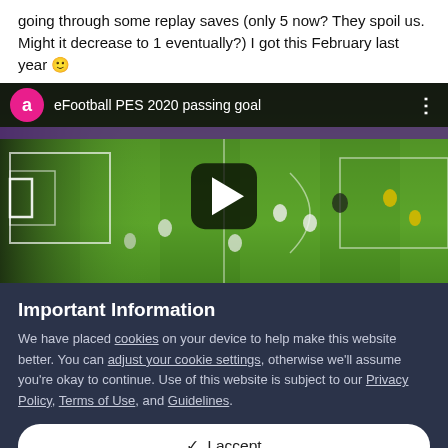going through some replay saves (only 5 now? They spoil us. Might it decrease to 1 eventually?) I got this February last year 🙂
[Figure (screenshot): YouTube video thumbnail showing eFootball PES 2020 passing goal — a football/soccer match scene with a play button overlay. Video title bar shows avatar 'a' in pink circle and title 'eFootball PES 2020 passing goal'.]
Important Information
We have placed cookies on your device to help make this website better. You can adjust your cookie settings, otherwise we'll assume you're okay to continue. Use of this website is subject to our Privacy Policy, Terms of Use, and Guidelines.
✔ I accept